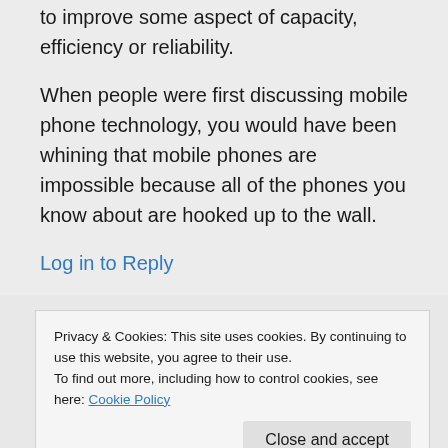to improve some aspect of capacity, efficiency or reliability.
When people were first discussing mobile phone technology, you would have been whining that mobile phones are impossible because all of the phones you know about are hooked up to the wall.
Log in to Reply
Privacy & Cookies: This site uses cookies. By continuing to use this website, you agree to their use.
To find out more, including how to control cookies, see here: Cookie Policy
Close and accept
point is to improve some aspect of